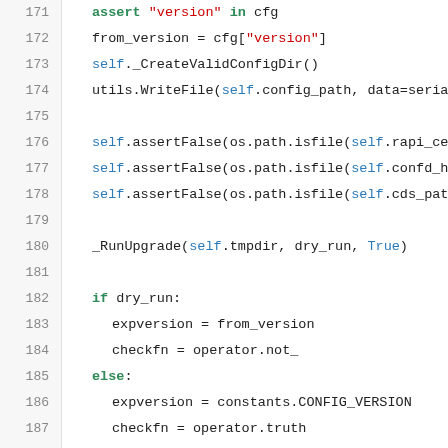[Figure (screenshot): Python source code snippet showing lines 171-196 with syntax highlighting. Keywords in green/blue, string literals in red, self references in blue.]